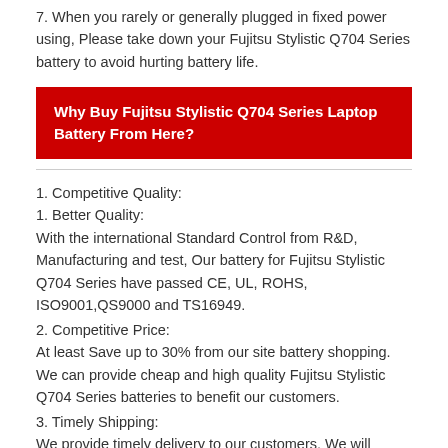7. When you rarely or generally plugged in fixed power using, Please take down your Fujitsu Stylistic Q704 Series battery to avoid hurting battery life.
Why Buy Fujitsu Stylistic Q704 Series Laptop Battery From Here?
1. Better Quality:
With the international Standard Control from R&D, Manufacturing and test, Our battery for Fujitsu Stylistic Q704 Series have passed CE, UL, ROHS, ISO9001,QS9000 and TS16949.
2. Competitive Price:
At least Save up to 30% from our site battery shopping. We can provide cheap and high quality Fujitsu Stylistic Q704 Series batteries to benefit our customers.
3. Timely Shipping:
We provide timely delivery to our customers. We will shipping the battery immediately after got your payment. It is usually take 7-15 business days for you get the replacement Fujitsu Stylistic Q704